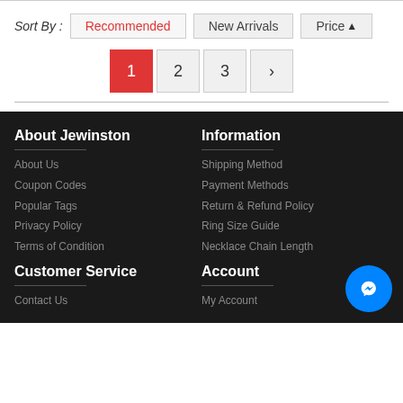Sort By : Recommended  New Arrivals  Price
Pagination: 1 2 3 >
About Jewinston
About Us
Coupon Codes
Popular Tags
Privacy Policy
Terms of Condition
Customer Service
Information
Shipping Method
Payment Methods
Return & Refund Policy
Ring Size Guide
Necklace Chain Length
Account